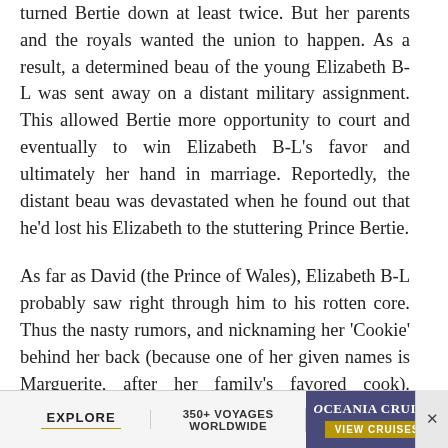turned Bertie down at least twice. But her parents and the royals wanted the union to happen. As a result, a determined beau of the young Elizabeth B-L was sent away on a distant military assignment. This allowed Bertie more opportunity to court and eventually to win Elizabeth B-L's favor and ultimately her hand in marriage. Reportedly, the distant beau was devastated when he found out that he'd lost his Elizabeth to the stuttering Prince Bertie.
As far as David (the Prince of Wales), Elizabeth B-L probably saw right through him to his rotten core. Thus the nasty rumors, and nicknaming her 'Cookie' behind her back (because one of her given names is Marguerite, after her family's favored cook). Rumors that
[Figure (other): Advertisement banner for Oceania Cruises with 'EXPLORE', '350+ VOYAGES WORLDWIDE', and 'VIEW CRUISES' button]